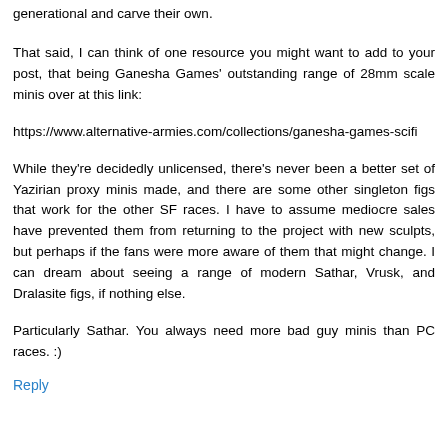generational and carve their own.
That said, I can think of one resource you might want to add to your post, that being Ganesha Games' outstanding range of 28mm scale minis over at this link:
https://www.alternative-armies.com/collections/ganesha-games-scifi
While they're decidedly unlicensed, there's never been a better set of Yazirian proxy minis made, and there are some other singleton figs that work for the other SF races. I have to assume mediocre sales have prevented them from returning to the project with new sculpts, but perhaps if the fans were more aware of them that might change. I can dream about seeing a range of modern Sathar, Vrusk, and Dralasite figs, if nothing else.
Particularly Sathar. You always need more bad guy minis than PC races. :)
Reply